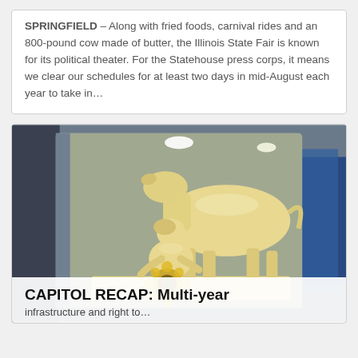SPRINGFIELD – Along with fried foods, carnival rides and an 800-pound cow made of butter, the Illinois State Fair is known for its political theater. For the Statehouse press corps, it means we clear our schedules for at least two days in mid-August each year to take in…
[Figure (photo): A butter sculpture showing a cow standing and a kneeling figure holding a sunflower, displayed in a refrigerated exhibit case with blue-lit background.]
CAPITOL RECAP: Multi-year infrastructure and right to…